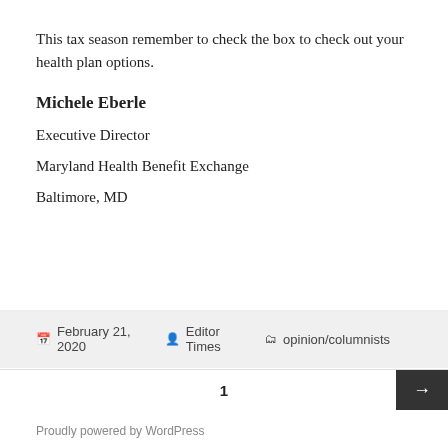This tax season remember to check the box to check out your health plan options.
Michele Eberle
Executive Director
Maryland Health Benefit Exchange
Baltimore, MD
February 21, 2020  Editor Times  opinion/columnists
1
Proudly powered by WordPress